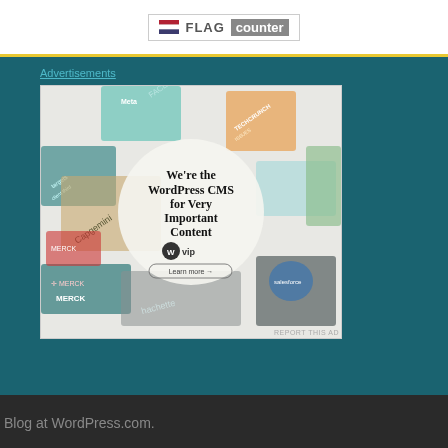[Figure (logo): Flag Counter logo with flag icon and text 'FLAG counter' in a bordered box]
Advertisements
[Figure (illustration): WordPress VIP advertisement. Background shows various company logos (Meta, Facebook, Capgemini, Merck, Salesforce, hachette, etc.) arranged as overlapping cards. Center shows a white circle with text: 'We're the WordPress CMS for Very Important Content' with WordPress VIP logo and 'Learn more →' button.]
REPORT THIS AD
Blog at WordPress.com.